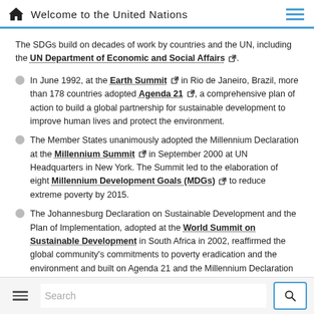Welcome to the United Nations
The SDGs build on decades of work by countries and the UN, including the UN Department of Economic and Social Affairs.
In June 1992, at the Earth Summit in Rio de Janeiro, Brazil, more than 178 countries adopted Agenda 21, a comprehensive plan of action to build a global partnership for sustainable development to improve human lives and protect the environment.
The Member States unanimously adopted the Millennium Declaration at the Millennium Summit in September 2000 at UN Headquarters in New York. The Summit led to the elaboration of eight Millennium Development Goals (MDGs) to reduce extreme poverty by 2015.
The Johannesburg Declaration on Sustainable Development and the Plan of Implementation, adopted at the World Summit on Sustainable Development in South Africa in 2002, reaffirmed the global community's commitments to poverty eradication and the environment and built on Agenda 21 and the Millennium Declaration by including more emphasis on multilateral partnerships.